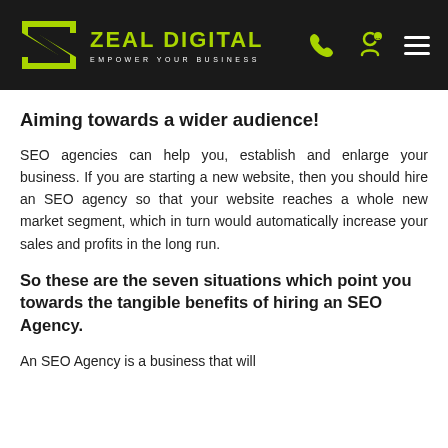ZEAL DIGITAL — EMPOWER YOUR BUSINESS
Aiming towards a wider audience!
SEO agencies can help you, establish and enlarge your business. If you are starting a new website, then you should hire an SEO agency so that your website reaches a whole new market segment, which in turn would automatically increase your sales and profits in the long run.
So these are the seven situations which point you towards the tangible benefits of hiring an SEO Agency.
An SEO Agency is a business that will